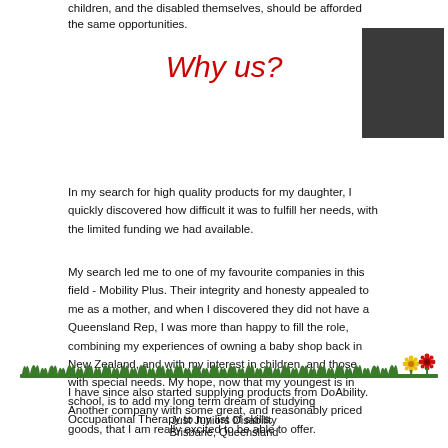children, and the disabled themselves, should be afforded the same opportunities.
Why us?
In my search for high quality products for my daughter, I quickly discovered how difficult it was to fulfill her needs, with the limited funding we had available.
My search led me to one of my favourite companies in this field - Mobility Plus. Their integrity and honesty appealed to me as a mother, and when I discovered they did not have a Queensland Rep, I was more than happy to fill the role, combining my experiences of owning a baby shop back in New Zealand, and with my interest in children, and those with special needs. My hope, now that my youngest is in school, is to add my long term dream of studying Occupational Therapy to my list of skills.
I have since also started supplying products from DoAbility. Another company with some great, and reasonably priced goods, that I am really excited to be able to offer.
[Figure (illustration): Decorative green grass/plant border with small flower illustration on the right]
Just Juniors Disability
Brisbane, Queensland